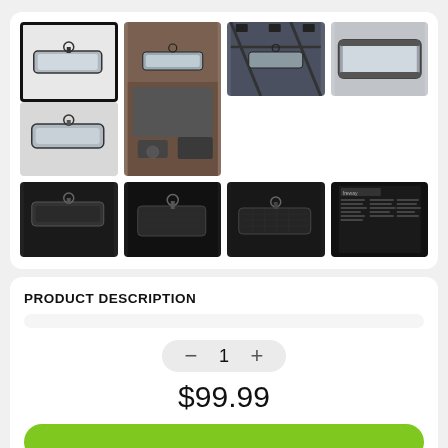[Figure (photo): Product image gallery showing a UTV/side-by-side rear view mirror from multiple angles. 8 thumbnail images in a grid layout. First thumbnail is selected (black border). Images show the panoramic rear view mirror from front, installed in vehicle, mounted on roll cage, from the back, and a product spec sheet.]
PRODUCT DESCRIPTION
1
$99.99